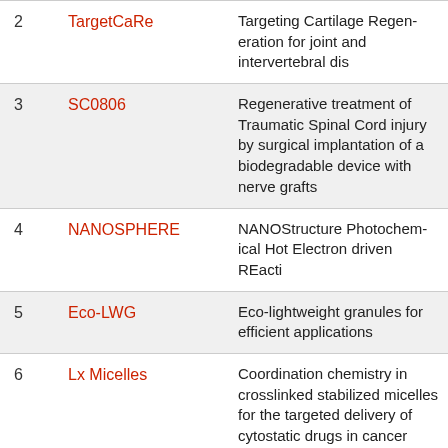| # | Acronym | Description |
| --- | --- | --- |
| 2 | TargetCaRe | Targeting Cartilage Regeneration for joint and intervertebral dis… |
| 3 | SC0806 | Regenerative treatment of Traumatic Spinal Cord injury by surgical implantation of a biodegradable device with nerve grafts |
| 4 | NANOSPHERE | NANOStructure Photochem… Hot Electron driven REacti… |
| 5 | Eco-LWG | Eco-lightweight granules for efficient applications |
| 6 | Lx Micelles | Coordination chemistry in crosslinked stabilized micelles for the targeted delivery of cytostatic drugs in cancer therapy |
| 7 | NANOTAM | Development and Evaluation of Nanomedicines for Cancer… |